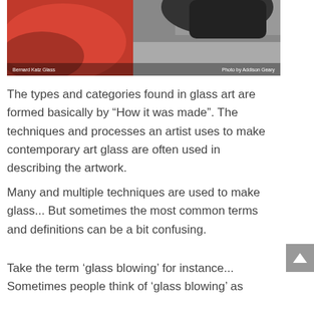[Figure (photo): A photo of a red glass object being worked on, with dark gloved hands visible at top right. Caption reads 'Bernard Katz Glass' on the left and 'Photo by Addison Geary' on the right.]
The types and categories found in glass art are formed basically by "How it was made". The techniques and processes an artist uses to make contemporary art glass are often used in describing the artwork.
Many and multiple techniques are used to make glass... But sometimes the most common terms and definitions can be a bit confusing.
Take the term ‘glass blowing’ for instance... Sometimes people think of ‘glass blowing’ as